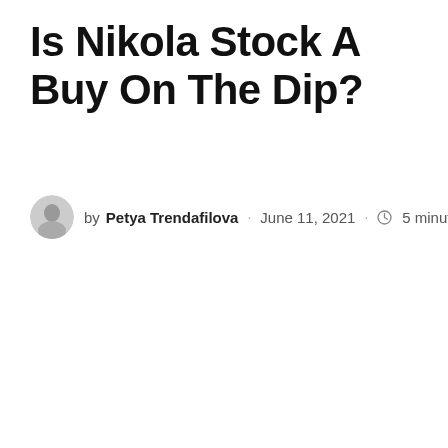Is Nikola Stock A Buy On The Dip?
by Petya Trendafilova · June 11, 2021 · 5 minute read